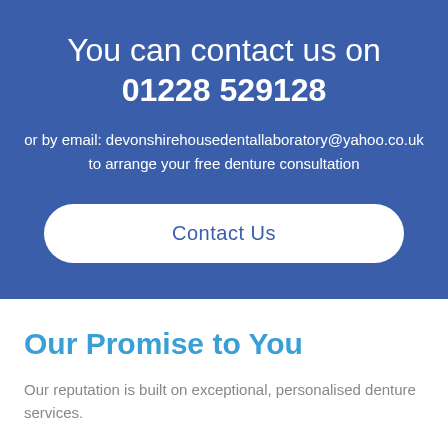You can contact us on 01228 529128
or by email: devonshirehousedentallaboratory@yahoo.co.uk to arrange your free denture consultation
Contact Us
Our Promise to You
Our reputation is built on exceptional, personalised denture services.